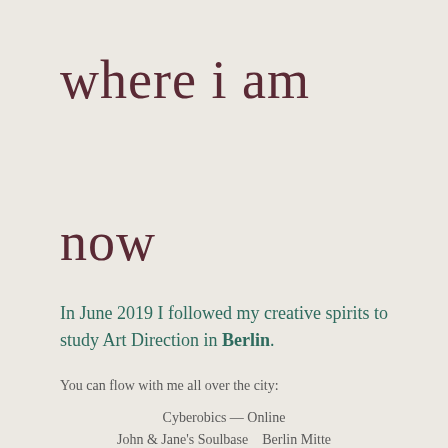where i am
now
In June 2019 I followed my creative spirits to study Art Direction in Berlin.
You can flow with me all over the city:
Cyberobics — Online
John & Jane's Soulbase — Berlin Mitte